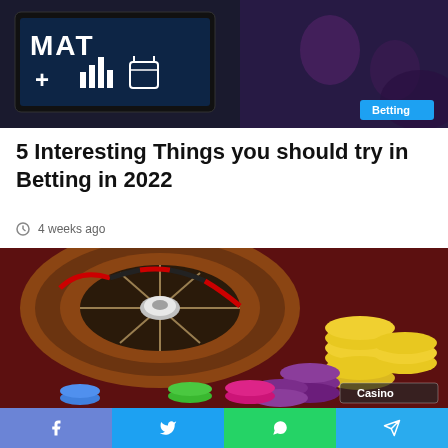[Figure (photo): Screenshot of a sports betting app on a tablet/screen, with a person sitting in the background. A blue 'Betting' badge is overlaid in the bottom-right corner.]
5 Interesting Things you should try in Betting in 2022
4 weeks ago
[Figure (photo): Close-up photo of a casino roulette wheel with colorful poker chips (yellow, purple, pink, green, blue) scattered on a red felt table. A 'Casino' badge is overlaid in the bottom-right corner.]
Social share bar with Facebook, Twitter, WhatsApp, and Telegram buttons